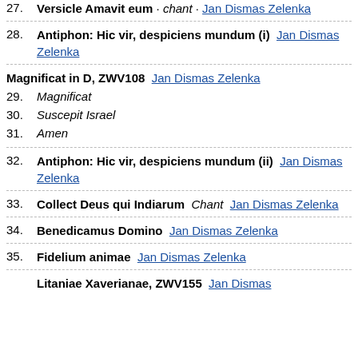27. Versicle Amavit eum · chant · Jan Dismas Zelenka
28. Antiphon: Hic vir, despiciens mundum (i)  Jan Dismas Zelenka
Magnificat in D, ZWV108  Jan Dismas Zelenka
29. Magnificat
30. Suscepit Israel
31. Amen
32. Antiphon: Hic vir, despiciens mundum (ii)  Jan Dismas Zelenka
33. Collect Deus qui Indiarum  Chant  Jan Dismas Zelenka
34. Benedicamus Domino  Jan Dismas Zelenka
35. Fidelium animae  Jan Dismas Zelenka
Litaniae Xaverianae, ZWV155  Jan Dismas